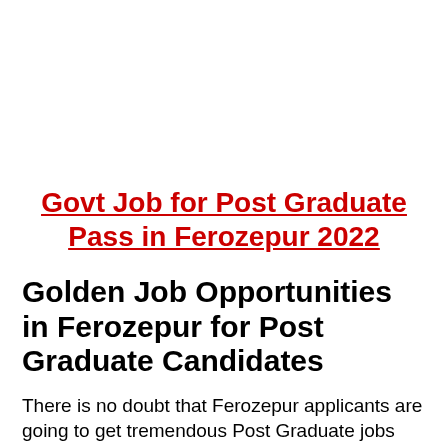Govt Job for Post Graduate Pass in Ferozepur 2022
Golden Job Opportunities in Ferozepur for Post Graduate Candidates
There is no doubt that Ferozepur applicants are going to get tremendous Post Graduate jobs